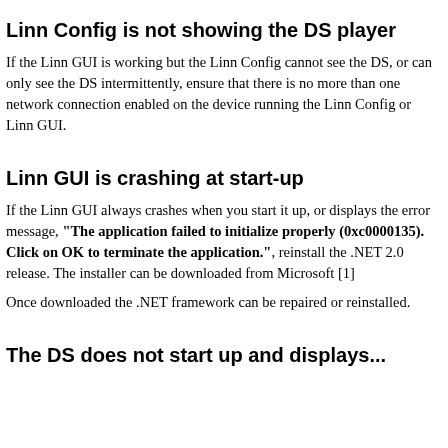Linn Config is not showing the DS player
If the Linn GUI is working but the Linn Config cannot see the DS, or can only see the DS intermittently, ensure that there is no more than one network connection enabled on the device running the Linn Config or Linn GUI.
Linn GUI is crashing at start-up
If the Linn GUI always crashes when you start it up, or displays the error message, "The application failed to initialize properly (0xc0000135). Click on OK to terminate the application.", reinstall the .NET 2.0 release. The installer can be downloaded from Microsoft [1]
Once downloaded the .NET framework can be repaired or reinstalled.
The DS does not start up and displays...